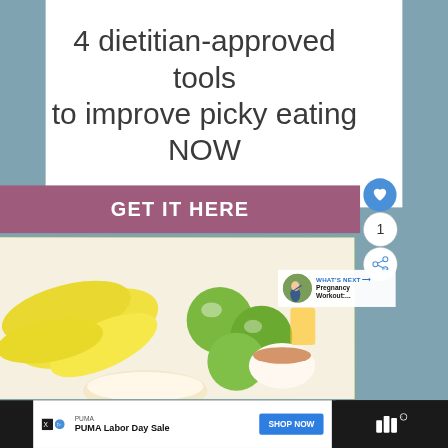4 dietitian-approved tools to improve picky eating NOW
GET IT HERE
1
WHAT'S NEXT → Pregnancy Workout:....
[Figure (photo): Photo of bananas, green apples, orange juice, coffee and cereal/oatmeal on a white background]
PUMA
PUMA Labor Day Sale
SHOP NOW